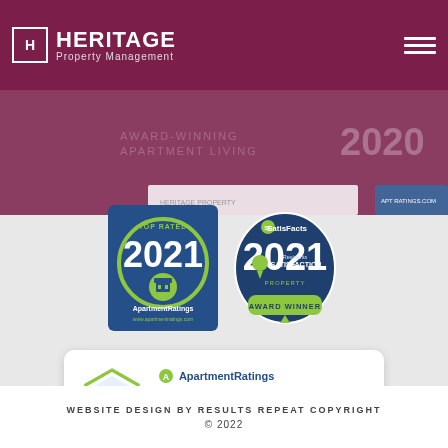Heritage Property Management
[Figure (logo): Heritage Property Management logo with white text and hamburger menu on maroon background]
[Figure (infographic): ApartmentRatings Top Rated 2021 award badge on blue background with green ring]
[Figure (infographic): SatisFacts 2021 Residents Satisfaction Property Award Winner badge on dark blue circular background]
[Figure (infographic): ApartmentRatings Company epIQ Grade widget showing hexagonal A grade logo and company epIQ Grade text with info button]
WEBSITE DESIGN BY RESULTS REPEAT COPYRIGHT © 2022